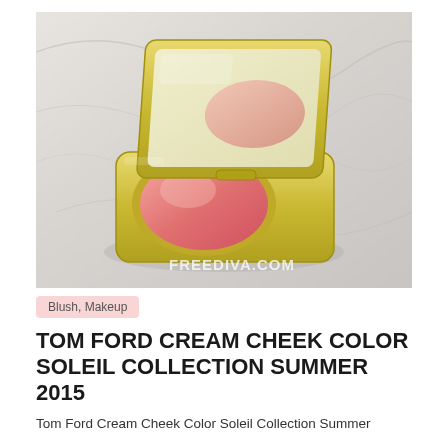[Figure (photo): An open gold compact blush case with a pink cream blush product inside, placed on a white marble surface. The lid is open showing a mirror reflection. Watermark reads FREEDIVA.COM in the bottom right corner.]
Blush, Makeup
TOM FORD CREAM CHEEK COLOR SOLEIL COLLECTION SUMMER 2015
Tom Ford Cream Cheek Color Soleil Collection Summer